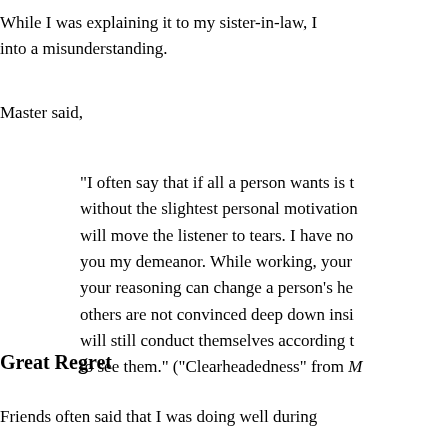While I was explaining it to my sister-in-law, I into a misunderstanding.
Master said,
“I often say that if all a person wants is t without the slightest personal motivation will move the listener to tears. I have no you my demeanor. While working, your your reasoning can change a person’s he others are not convinced deep down insi will still conduct themselves according t to see them.” (“Clearheadedness” from M
Great Regret
Friends often said that I was doing well during